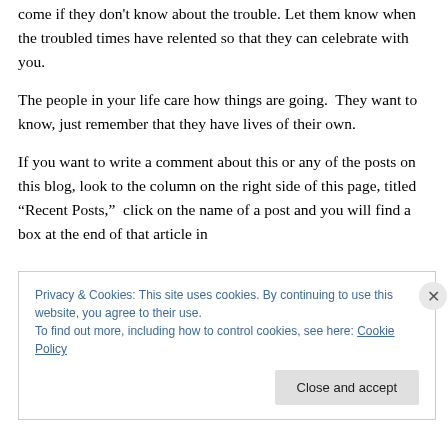come if they don't know about the trouble. Let them know when the troubled times have relented so that they can celebrate with you.
The people in your life care how things are going.  They want to know, just remember that they have lives of their own.
If you want to write a comment about this or any of the posts on this blog, look to the column on the right side of this page, titled “Recent Posts,”  click on the name of a post and you will find a box at the end of that article in
Privacy & Cookies: This site uses cookies. By continuing to use this website, you agree to their use.
To find out more, including how to control cookies, see here: Cookie Policy
Close and accept